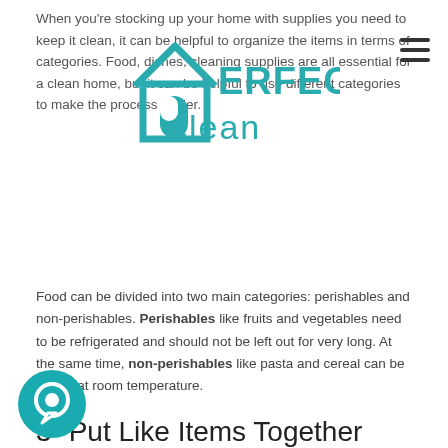[Figure (logo): Perfect Clean logo with teal house/P icon and 'PERFECT clean' text in teal]
When you're stocking up your home with supplies you need to keep it clean, it can be helpful to organize the items in terms of categories. Food, dishes, cleaning supplies are all essential for a clean home, but it can be helpful to use different categories to make the process easier.
Food can be divided into two main categories: perishables and non-perishables. Perishables like fruits and vegetables need to be refrigerated and should not be left out for very long. At the same time, non-perishables like pasta and cereal can be stored at room temperature.
3- Put Like Items Together
If you want to keep your cupboard organized and looking nice, put like items together. This means all of your black shirts together, all of your skirts together, and so on. Not only will this make it easier for you to find what you're looking for, but it will also help to keep your cupboard looking its best. For example,
[Figure (illustration): Teal circular chat bubble icon with white speech bubble outline]